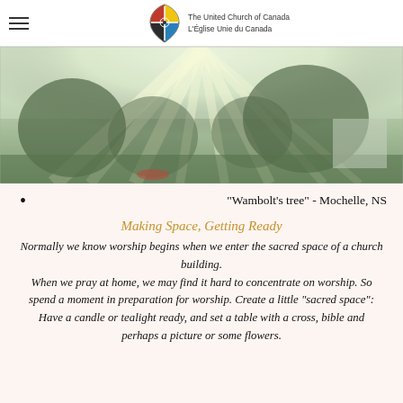The United Church of Canada / L'Église Unie du Canada
[Figure (photo): Sunlight streaming through trees with misty light rays, outdoor nature scene - 'Wambolt's tree' - Mochelle, NS]
"Wambolt's tree" - Mochelle, NS
Making Space, Getting Ready
Normally we know worship begins when we enter the sacred space of a church building. When we pray at home, we may find it hard to concentrate on worship. So spend a moment in preparation for worship. Create a little “sacred space”: Have a candle or tealight ready, and set a table with a cross, bible and perhaps a picture or some flowers.